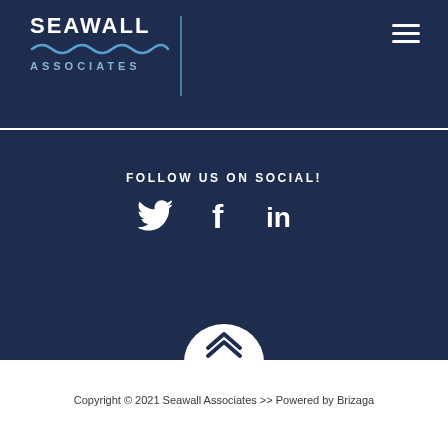[Figure (logo): Seawall Associates logo with wave graphic, white text, and vertical bar divider on dark navy background]
FOLLOW US ON SOCIAL!
[Figure (illustration): Social media icons: Twitter bird icon, Facebook f icon, LinkedIn in icon — all white on dark navy background]
[Figure (illustration): White scroll-to-top button with double chevron/up-arrow icon on dark navy background]
Copyright © 2021 Seawall Associates >> Powered by Brizaga